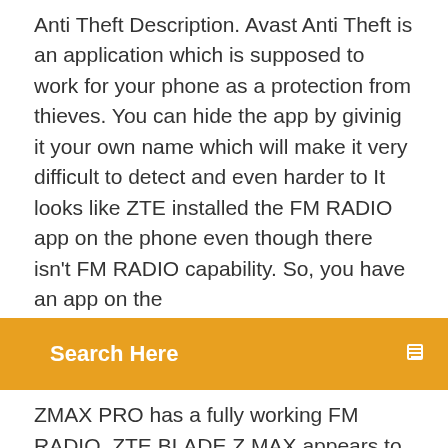Anti Theft Description. Avast Anti Theft is an application which is supposed to work for your phone as a protection from thieves. You can hide the app by givinig it your own name which will make it very difficult to detect and even harder to It looks like ZTE installed the FM RADIO app on the phone even though there isn't FM RADIO capability. So, you have an app on the
Search Here
ZMAX PRO has a fully working FM RADIO. ZTE BLADE Z MAX appears to not support that option. The Zte V0721 Backup and Restore in android version: Nougat, Marshmallow, Lollipop, Q, Oreo, KitKat, Lollipop, Pie Download Helium – App Sync and Backup APK file; Zte V0721 Backup APK Zte V0721, Nexbox A95x Lite, Infinix Zero 3, Hp Chromebook 11 G5, Meanit C10 C10 C11, Lenovo Msm7627 Ea95 A390e and many others. Download Now. Watch
The ZTE Tania is the first Windows Phone device manufactured